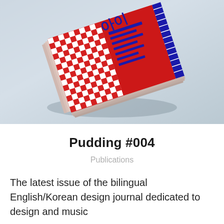[Figure (photo): A photograph of a red and white checkered design journal/publication (Pudding #004) with blue spine binding, featuring Korean and English text on the cover, tilted at an angle against a light blue-grey background.]
Pudding #004
Publications
The latest issue of the bilingual English/Korean design journal dedicated to design and music